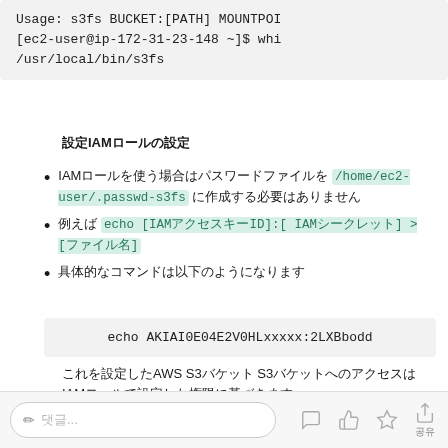Usage: s3fs BUCKET:[PATH] MOUNTPOI
[ec2-user@ip-172-31-23-148 ~]$ whi
/usr/local/bin/s3fs
設定IAMロールの設定
IAMロールを使う場合はパスワードファイルを/home/ec2-user/.passwd-s3fs に作成する必要はありません
例えば echo [IAMアクセスキーID]:[ IAMシークレット] &gt;[ファイル名]
具体的なコマンドは以下のようになります
echo AKIAI0E04E2V0HLxxxxx:2LXBbodd
これを設定したAWS S3バケット S3バケットへのアクセスはIAMロールで設定した権限に基づきます
アクセス権限の設定については